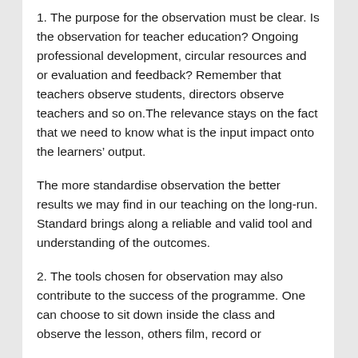1. The purpose for the observation must be clear. Is the observation for teacher education? Ongoing professional development, circular resources and or evaluation and feedback? Remember that teachers observe students, directors observe teachers and so on.The relevance stays on the fact that we need to know what is the input impact onto the learners' output.
The more standardise observation the better results we may find in our teaching on the long-run. Standard brings along a reliable and valid tool and understanding of the outcomes.
2. The tools chosen for observation may also contribute to the success of the programme. One can choose to sit down inside the class and observe the lesson, others film, record or